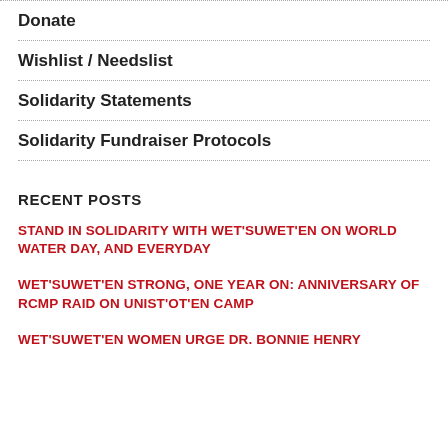Donate
Wishlist / Needslist
Solidarity Statements
Solidarity Fundraiser Protocols
RECENT POSTS
STAND IN SOLIDARITY WITH WET'SUWET'EN ON WORLD WATER DAY, AND EVERYDAY
WET'SUWET'EN STRONG, ONE YEAR ON: ANNIVERSARY OF RCMP RAID ON UNIST'OT'EN CAMP
WET'SUWET'EN WOMEN URGE DR. BONNIE HENRY